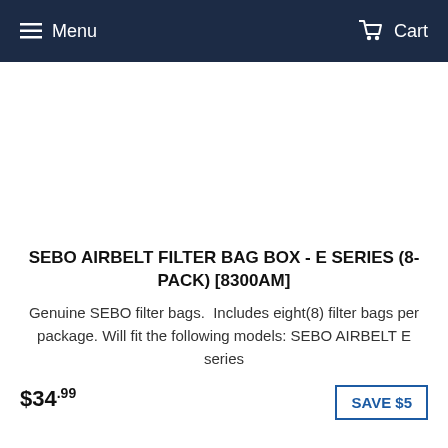Menu  Cart
[Figure (photo): Product image area (blank/white) for SEBO Airbelt Filter Bag Box - E Series (8-Pack)]
SEBO AIRBELT FILTER BAG BOX - E SERIES (8-PACK) [8300AM]
Genuine SEBO filter bags.  Includes eight(8) filter bags per package. Will fit the following models: SEBO AIRBELT E series
$34.99
SAVE $5